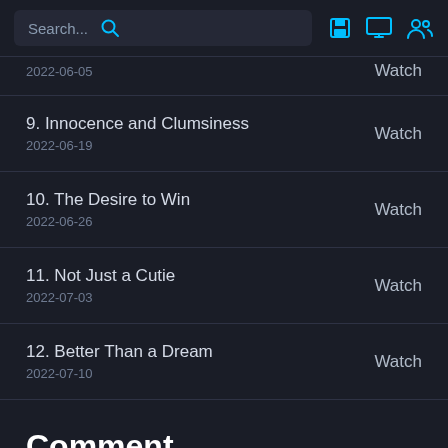Search...
2022-06-05 | Watch
9. Innocence and Clumsiness | 2022-06-19 | Watch
10. The Desire to Win | 2022-06-26 | Watch
11. Not Just a Cutie | 2022-07-03 | Watch
12. Better Than a Dream | 2022-07-10 | Watch
Comment